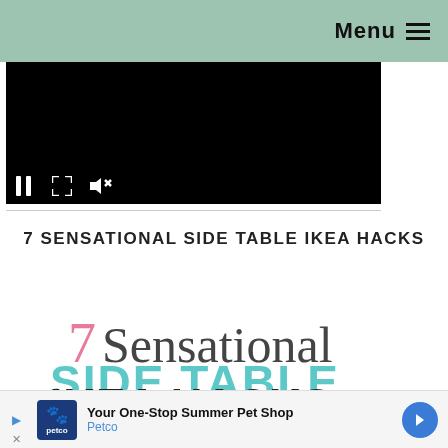Menu
[Figure (screenshot): Black video player with pause, fullscreen, and mute controls visible at the bottom left]
7 SENSATIONAL SIDE TABLE IKEA HACKS
[Figure (infographic): Decorative text graphic showing '7 Sensational SIDE TABLE IKEA HACKS' with pink '7', dark gray 'Sensational', turquoise 'SIDE TABLE', and black 'IKEA HACKS' text on white background]
[Figure (screenshot): Advertisement bar: Petco 'Your One-Stop Summer Pet Shop' with logo and arrow button]